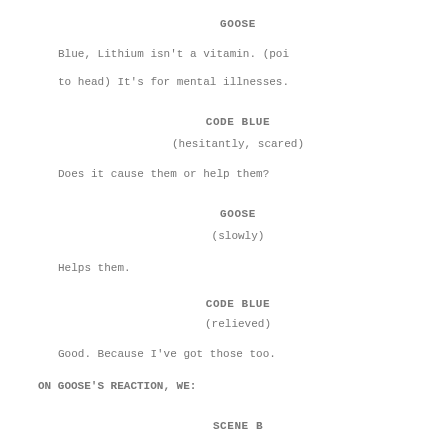GOOSE
Blue, Lithium isn't a vitamin. (poi to head) It's for mental illnesses.
CODE BLUE
(hesitantly, scared)
Does it cause them or help them?
GOOSE
(slowly)
Helps them.
CODE BLUE
(relieved)
Good. Because I've got those too.
ON GOOSE'S REACTION, WE:
SCENE B